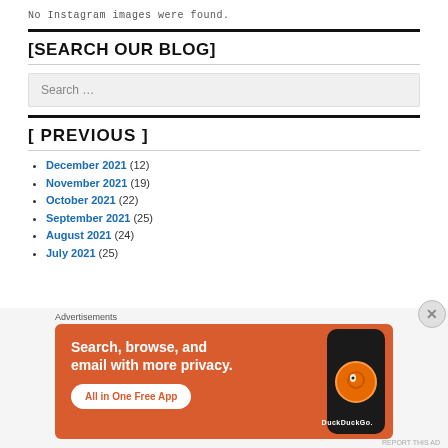No Instagram images were found.
[SEARCH OUR BLOG]
Search ...
[ PREVIOUS ]
December 2021 (12)
November 2021 (19)
October 2021 (22)
September 2021 (25)
August 2021 (24)
July 2021 (25)
[Figure (screenshot): DuckDuckGo advertisement banner: 'Search, browse, and email with more privacy. All in One Free App' with phone graphic and DuckDuckGo logo]